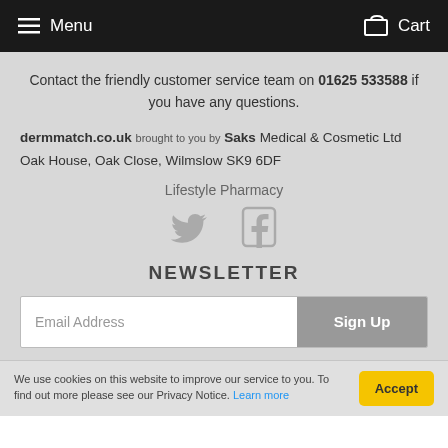Menu  Cart
Contact the friendly customer service team on 01625 533588 if you have any questions.
dermmatch.co.uk brought to you by Saks Medical & Cosmetic Ltd
Oak House, Oak Close, Wilmslow SK9 6DF
Lifestyle Pharmacy
[Figure (illustration): Twitter bird icon and Facebook 'f' icon in grey]
NEWSLETTER
Email Address   Sign Up
We use cookies on this website to improve our service to you. To find out more please see our Privacy Notice. Learn more   Accept